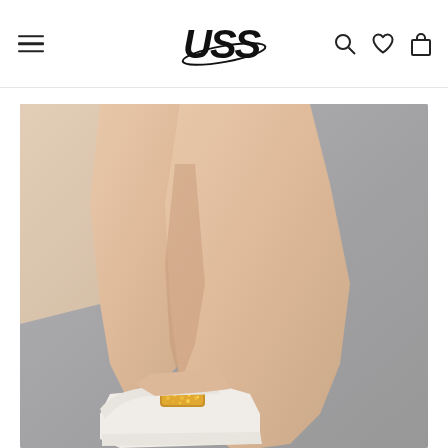USS store navigation header with hamburger menu, USS logo, search icon, wishlist icon, and cart icon
[Figure (photo): Product photo showing a woman's legs and feet wearing white flat shoes with gold glitter embellishment near the toe area, photographed against a gray background with a light pink/beige fabric visible in the upper left corner]